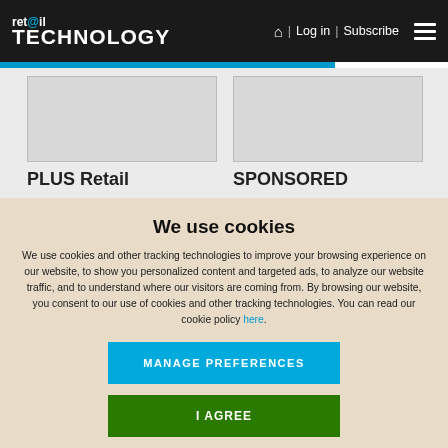ret@il TECHNOLOGY | Log in | Subscribe
[Figure (screenshot): Two content cards visible behind cookie overlay. Left card shows placeholder image and 'PLUS Retail' heading. Right card shows placeholder image and 'SPONSORED' heading.]
We use cookies
We use cookies and other tracking technologies to improve your browsing experience on our website, to show you personalized content and targeted ads, to analyze our website traffic, and to understand where our visitors are coming from. By browsing our website, you consent to our use of cookies and other tracking technologies. You can read our cookie policy here.
MANAGE PREFERENCES
I AGREE